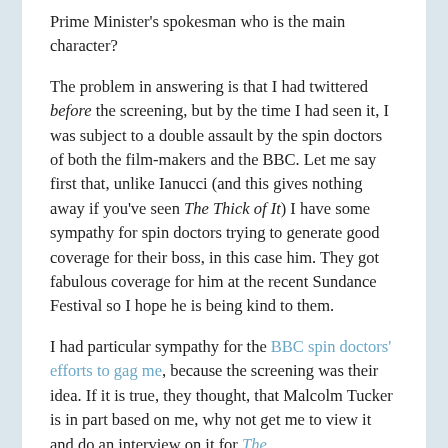Prime Minister's spokesman who is the main character?
The problem in answering is that I had twittered before the screening, but by the time I had seen it, I was subject to a double assault by the spin doctors of both the film-makers and the BBC. Let me say first that, unlike Ianucci (and this gives nothing away if you've seen The Thick of It) I have some sympathy for spin doctors trying to generate good coverage for their boss, in this case him. They got fabulous coverage for him at the recent Sundance Festival so I hope he is being kind to them.
I had particular sympathy for the BBC spin doctors' efforts to gag me, because the screening was their idea. If it is true, they thought, that Malcolm Tucker is in part based on me, why not get me to view it and do an interview on it for The